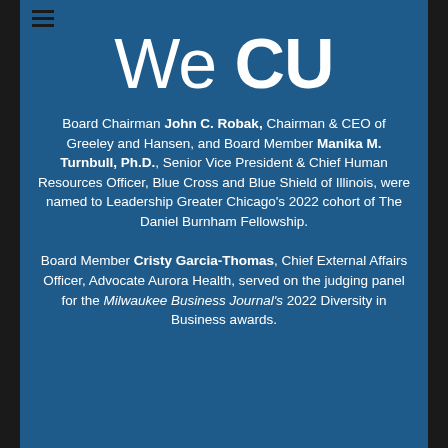We CU
Board Chairman John C. Robak, Chairman & CEO of Greeley and Hansen, and Board Member Manika M. Turnbull, Ph.D., Senior Vice President & Chief Human Resources Officer, Blue Cross and Blue Shield of Illinois, were named to Leadership Greater Chicago's 2022 cohort of The Daniel Burnham Fellowship.
Board Member Cristy Garcia-Thomas, Chief External Affairs Officer, Advocate Aurora Health, served on the judging panel for the Milwaukee Business Journal's 2022 Diversity in Business awards.